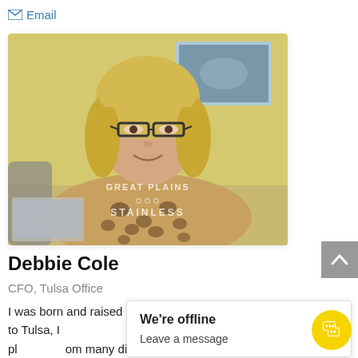✉ Email
[Figure (photo): Portrait photo of Debbie Cole, a woman with blonde shoulder-length hair, glasses, wearing a leopard print top, seated in an office with a yellow wall and painting in the background. A watermark reads 'GREAT PLAINS STAINLESS'.]
Debbie Cole
CFO, Tulsa Office
I was born and raised in southern Illinois. After moving to Tulsa, I... As CFO, I have the pl... om many different countries.